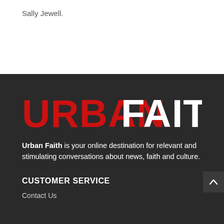Sally Jewell.
[Figure (logo): Urban Faith logo — 'URBAN' in bold red letters, 'FAITH' in bold white letters, on a dark background]
Urban Faith is your online destination for relevant and stimulating conversations about news, faith and culture.
CUSTOMER SERVICE
Contact Us